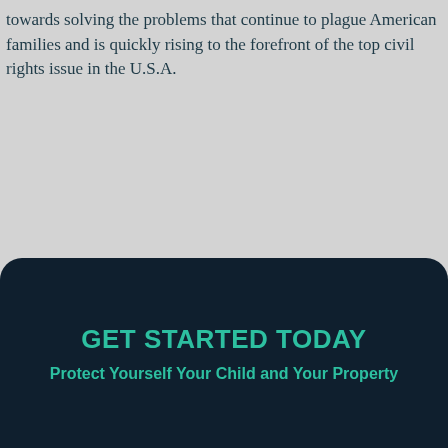towards solving the problems that continue to plague American families and is quickly rising to the forefront of the top civil rights issue in the U.S.A.
GET STARTED TODAY
Protect Yourself Your Child and Your Property